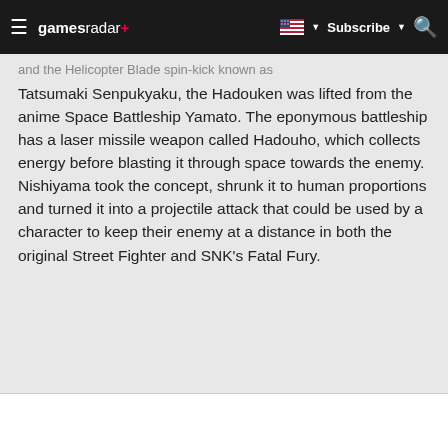gamesradar+
and the Helicopter Blade spin-kick known as Tatsumaki Senpukyaku, the Hadouken was lifted from the anime Space Battleship Yamato. The eponymous battleship has a laser missile weapon called Hadouho, which collects energy before blasting it through space towards the enemy. Nishiyama took the concept, shrunk it to human proportions and turned it into a projectile attack that could be used by a character to keep their enemy at a distance in both the original Street Fighter and SNK's Fatal Fury.